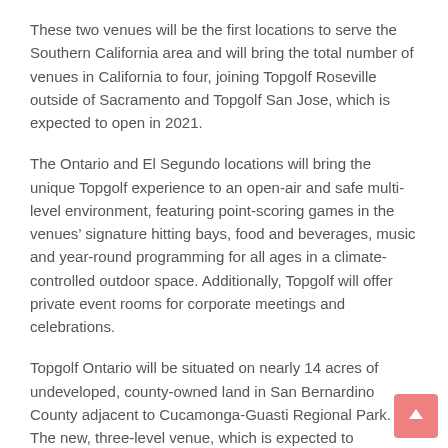These two venues will be the first locations to serve the Southern California area and will bring the total number of venues in California to four, joining Topgolf Roseville outside of Sacramento and Topgolf San Jose, which is expected to open in 2021.
The Ontario and El Segundo locations will bring the unique Topgolf experience to an open-air and safe multi-level environment, featuring point-scoring games in the venues' signature hitting bays, food and beverages, music and year-round programming for all ages in a climate-controlled outdoor space. Additionally, Topgolf will offer private event rooms for corporate meetings and celebrations.
Topgolf Ontario will be situated on nearly 14 acres of undeveloped, county-owned land in San Bernardino County adjacent to Cucamonga-Guasti Regional Park. The new, three-level venue, which is expected to